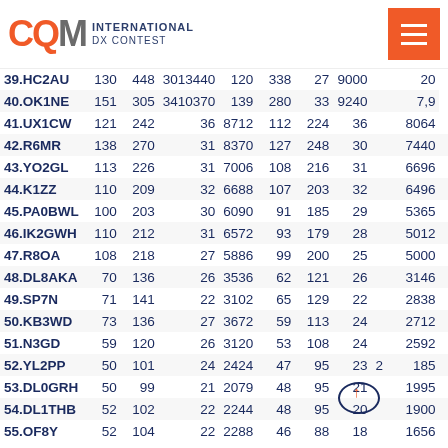[Figure (logo): CQM International DX Contest logo with orange hamburger menu button]
| # | Call | Q | Pt | Z | Score | Q | Pt | Z | Score | Diff |
| --- | --- | --- | --- | --- | --- | --- | --- | --- | --- | --- |
| 39.HC2AU | 130 | 448 | 3013440 | 120 | 338 | 27 | 9000 | 20 |  |  |
| 40.OK1NE | 151 | 305 | 3410370 | 139 | 280 | 33 | 9240 | 7,9 |  |  |
| 41.UX1CW | 121 | 242 | 36 | 8712 | 112 | 224 | 36 | 8064 | 7,4 |  |
| 42.R6MR | 138 | 270 | 31 | 8370 | 127 | 248 | 30 | 7440 | 8 |  |  |
| 43.YO2GL | 113 | 226 | 31 | 7006 | 108 | 216 | 31 | 6696 | 4,4 |  |
| 44.K1ZZ | 110 | 209 | 32 | 6688 | 107 | 203 | 32 | 6496 | 2,7 |  |
| 45.PA0BWL | 100 | 203 | 30 | 6090 | 91 | 185 | 29 | 5365 | 9 |  |
| 46.IK2GWH | 110 | 212 | 31 | 6572 | 93 | 179 | 28 | 5012 | 15,5 |  |
| 47.R8OA | 108 | 218 | 27 | 5886 | 99 | 200 | 25 | 5000 | 8,3 |  |
| 48.DL8AKA | 70 | 136 | 26 | 3536 | 62 | 121 | 26 | 3146 | 11,4 |  |
| 49.SP7N | 71 | 141 | 22 | 3102 | 65 | 129 | 22 | 2838 | 8,5 |  |
| 50.KB3WD | 73 | 136 | 27 | 3672 | 59 | 113 | 24 | 2712 | 19,2 |  |
| 51.N3GD | 59 | 120 | 26 | 3120 | 53 | 108 | 24 | 2592 | 10,2 |  |
| 52.YL2PP | 50 | 101 | 24 | 2424 | 47 | 95 | 23 | 2185 | 6 |  |
| 53.DL0GRH | 50 | 99 | 21 | 2079 | 48 | 95 | 21 | 1995 | 4 |  |
| 54.DL1THB | 52 | 102 | 22 | 2244 | 48 | 95 | 20 | 1900 | 7,7 |  |
| 55.OF8Y | 52 | 104 | 22 | 2288 | 46 | 88 | 18 | 1656 | 11,5 |  |